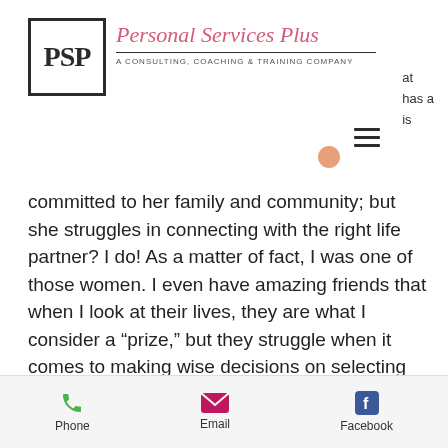[Figure (logo): PSP logo box with bold letters and company name 'Personal Services Plus' in script, tagline 'A Consulting, Coaching & Training Company']
at
has a
is
committed to her family and community; but she struggles in connecting with the right life partner? I do! As a matter of fact, I was one of those women. I even have amazing friends that when I look at their lives, they are what I consider a “prize,” but they struggle when it comes to making wise decisions on selecting the right person as a serious companion. Why does this happen?
Phone   Email   Facebook